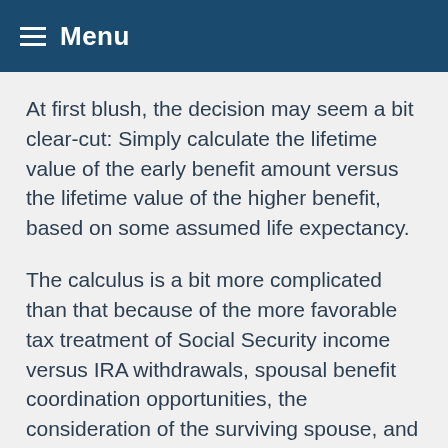Menu
At first blush, the decision may seem a bit clear-cut: Simply calculate the lifetime value of the early benefit amount versus the lifetime value of the higher benefit, based on some assumed life expectancy.
The calculus is a bit more complicated than that because of the more favorable tax treatment of Social Security income versus IRA withdrawals, spousal benefit coordination opportunities, the consideration of the surviving spouse, and Social Security's lifetime income guarantee that exists under current